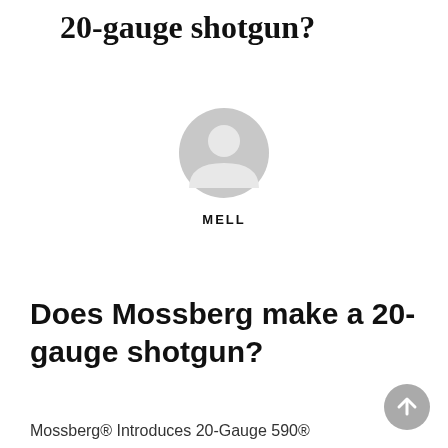20-gauge shotgun?
[Figure (illustration): Generic grey user/avatar icon — circular head and shoulders silhouette]
MELL
Does Mossberg make a 20-gauge shotgun?
Mossberg® Introduces 20-Gauge 590®